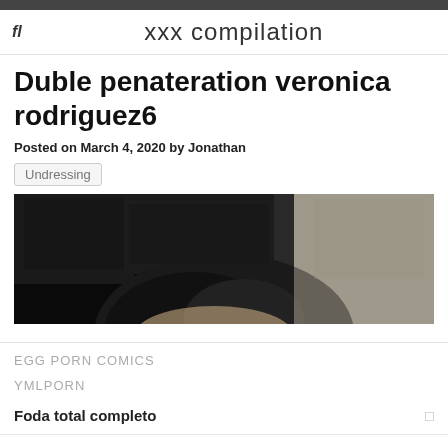fl   xxx compilation
Duble penateration veronica rodriguez6
Posted on March 4, 2020 by Jonathan
Undressing
[Figure (photo): Dark image showing top of a person's head with dark hair against a dark background with some furniture visible]
EGG PORN COMICS
YMLPORN
Foda total completo
Hanka is hanged span...